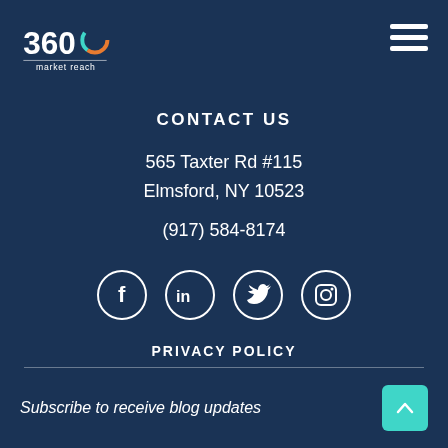[Figure (logo): 360 market reach logo with circular orange/blue/teal design and white text]
[Figure (illustration): Hamburger menu icon with three white horizontal bars]
CONTACT US
565 Taxter Rd #115
Elmsford, NY 10523
(917) 584-8174
[Figure (illustration): Social media icons in circles: Facebook, LinkedIn, Twitter, Instagram]
PRIVACY POLICY
Subscribe to receive blog updates
[Figure (illustration): Teal scroll-to-top button with upward chevron]